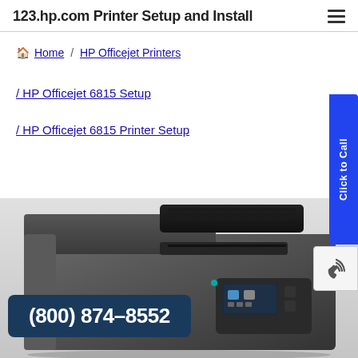123.hp.com Printer Setup and Install
Home / HP Officejet Printers
/ HP Officejet 6815 Setup
/ HP Officejet 6815 Printer Setup
[Figure (photo): HP Officejet 6815 all-in-one printer, dark gray/black, viewed from front-right angle showing document feeder tray and touchscreen control panel]
(800) 874-8552
Click to Call